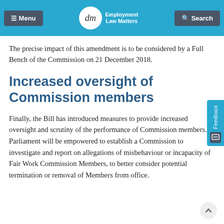Menu | Employment Law Matters | Search
The precise impact of this amendment is to be considered by a Full Bench of the Commission on 21 December 2018.
Increased oversight of Commission members
Finally, the Bill has introduced measures to provide increased oversight and scrutiny of the performance of Commission members. Parliament will be empowered to establish a Commission to investigate and report on allegations of misbehaviour or incapacity of Fair Work Commission Members, to better consider potential termination or removal of Members from office.